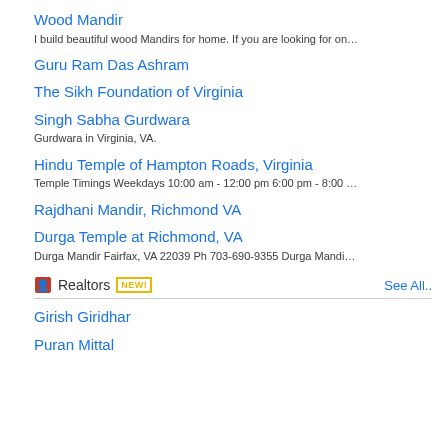Wood Mandir
I build beautiful wood Mandirs for home. If you are looking for on…
Guru Ram Das Ashram
The Sikh Foundation of Virginia
Singh Sabha Gurdwara
Gurdwara in Virginia, VA.
Hindu Temple of Hampton Roads, Virginia
Temple Timings Weekdays 10:00 am - 12:00 pm 6:00 pm - 8:00 …
Rajdhani Mandir, Richmond VA
Durga Temple at Richmond, VA
Durga Mandir Fairfax, VA 22039 Ph 703-690-9355 Durga Mandi…
Realtors NEW! See All..
Girish Giridhar
Puran Mittal